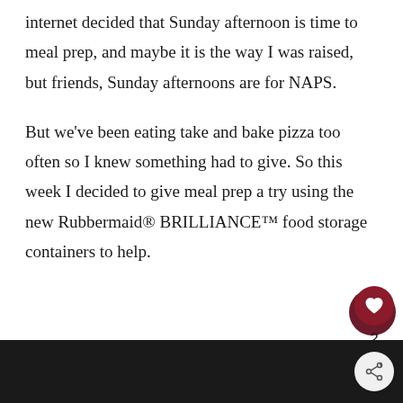internet decided that Sunday afternoon is time to meal prep, and maybe it is the way I was raised, but friends, Sunday afternoons are for NAPS.
But we've been eating take and bake pizza too often so I knew something had to give. So this week I decided to give meal prep a try using the new Rubbermaid® BRILLIANCE™ food storage containers to help.